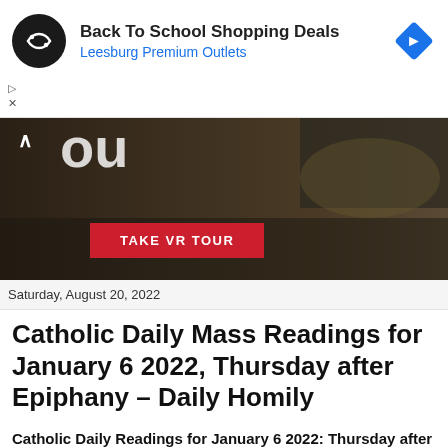[Figure (infographic): Advertisement banner for Back To School Shopping Deals at Leesburg Premium Outlets, showing a black circular icon with chain-link symbol, text, and a blue diamond navigation icon]
[Figure (photo): Dark-toned hero banner image of an outdoor urban or historical site with blurred background, partially visible text 'ou', a caret/arrow symbol, and a red TAKE VR TOUR button]
Saturday, August 20, 2022
Catholic Daily Mass Readings for January 6 2022, Thursday after Epiphany – Daily Homily
Catholic Daily Readings for January 6 2022: Thursday after Epiphany – Lectionary: 215